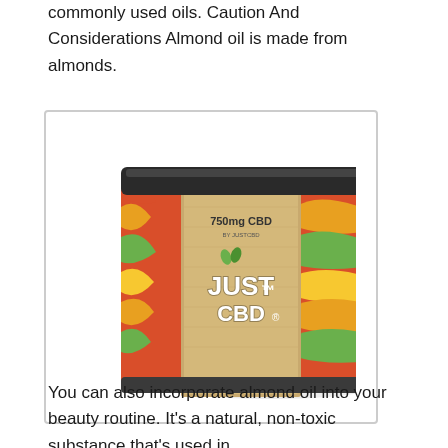commonly used oils. Caution And Considerations Almond oil is made from almonds.
[Figure (photo): A jar of JUST CBD 750mg CBD gummies with a colorful floral/candy label and black lid]
You can also incorporate almond oil into your beauty routine. It’s a natural, non-toxic substance that’s used in